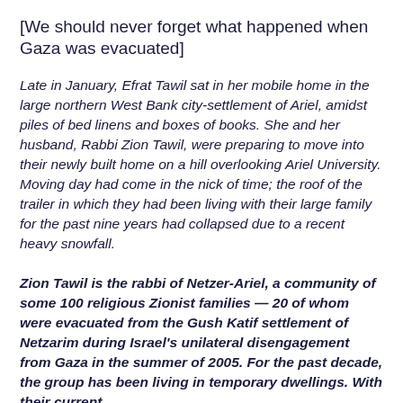[We should never forget what happened when Gaza was evacuated]
Late in January, Efrat Tawil sat in her mobile home in the large northern West Bank city-settlement of Ariel, amidst piles of bed linens and boxes of books. She and her husband, Rabbi Zion Tawil, were preparing to move into their newly built home on a hill overlooking Ariel University. Moving day had come in the nick of time; the roof of the trailer in which they had been living with their large family for the past nine years had collapsed due to a recent heavy snowfall.
Zion Tawil is the rabbi of Netzer-Ariel, a community of some 100 religious Zionist families — 20 of whom were evacuated from the Gush Katif settlement of Netzarim during Israel's unilateral disengagement from Gaza in the summer of 2005. For the past decade, the group has been living in temporary dwellings. With their current